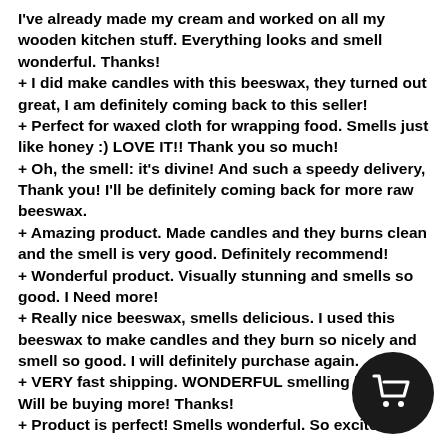I've already made my cream and worked on all my wooden kitchen stuff. Everything looks and smell wonderful. Thanks!
+ I did make candles with this beeswax, they turned out great, I am definitely coming back to this seller!
+ Perfect for waxed cloth for wrapping food. Smells just like honey :) LOVE IT!! Thank you so much!
+ Oh, the smell: it's divine! And such a speedy delivery, Thank you! I'll be definitely coming back for more raw beeswax.
+ Amazing product. Made candles and they burns clean and the smell is very good. Definitely recommend!
+ Wonderful product. Visually stunning and smells so good. I Need more!
+ Really nice beeswax, smells delicious. I used this beeswax to make candles and they burn so nicely and smell so good. I will definitely purchase again.
+ VERY fast shipping. WONDERFUL smelling b… Will be buying more! Thanks!
+ Product is perfect! Smells wonderful. So excited to